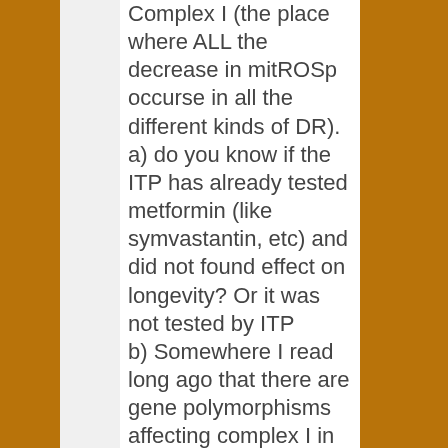Complex I (the place where ALL the decrease in mitROSp occurse in all the different kinds of DR). a) do you know if the ITP has already tested metformin (like symvastantin, etc) and did not found effect on longevity? Or it was not tested by ITP b) Somewhere I read long ago that there are gene polymorphisms affecting complex I in some centenaries, and is some mutant mice (I